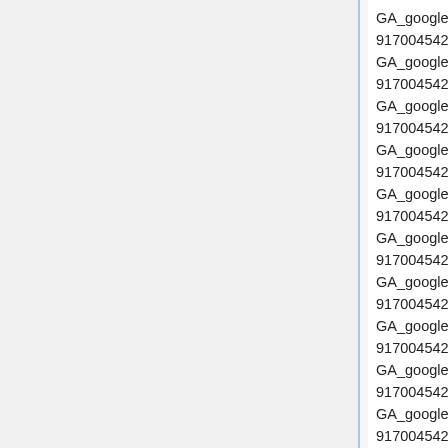GA_googleAddSlot("ca-pub-9170045421997827", "Lifestyle1");
GA_googleAddSlot("ca-pub-9170045421997827", "Lifestyle10");
GA_googleAddSlot("ca-pub-9170045421997827", "Lifestyle2");
GA_googleAddSlot("ca-pub-9170045421997827", "Lifestyle3");
GA_googleAddSlot("ca-pub-9170045421997827", "Lifestyle4");
GA_googleAddSlot("ca-pub-9170045421997827", "Lifestyle5");
GA_googleAddSlot("ca-pub-9170045421997827", "Lifestyle6");
GA_googleAddSlot("ca-pub-9170045421997827", "Lifestyle7");
GA_googleAddSlot("ca-pub-9170045421997827", "Lifestyle8");
GA_googleAddSlot("ca-pub-9170045421997827", "Lifestyle9");